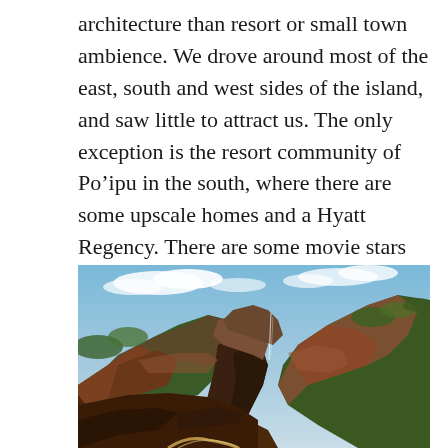architecture than resort or small town ambience. We drove around most of the east, south and west sides of the island, and saw little to attract us. The only exception is the resort community of Po'ipu in the south, where there are some upscale homes and a Hyatt Regency. There are some movie stars who live on the north side, so perhaps it's nicer there, too.
[Figure (photo): Aerial or overlook photograph of a dramatic canyon landscape with red and brown rocky canyon walls, green vegetation on the ridges, blue sky with clouds, and what appears to be a distant waterfall in the canyon.]